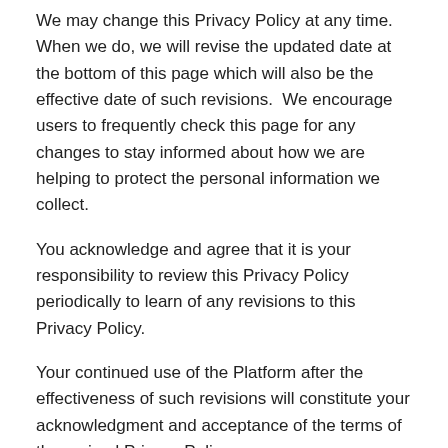We may change this Privacy Policy at any time. When we do, we will revise the updated date at the bottom of this page which will also be the effective date of such revisions.  We encourage users to frequently check this page for any changes to stay informed about how we are helping to protect the personal information we collect.
You acknowledge and agree that it is your responsibility to review this Privacy Policy periodically to learn of any revisions to this Privacy Policy.
Your continued use of the Platform after the effectiveness of such revisions will constitute your acknowledgment and acceptance of the terms of the revised Privacy Policy.